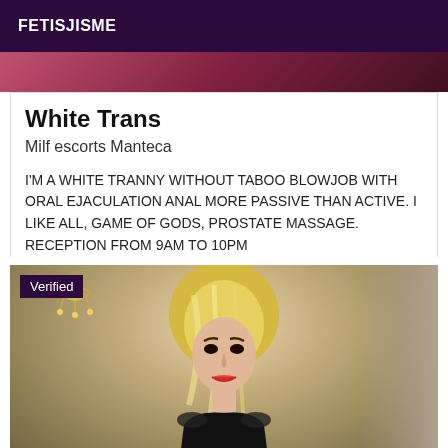FETISJISME
[Figure (photo): Top portion of a photo showing dark red/maroon tones, partial view of a person]
White Trans
Milf escorts Manteca
I'M A WHITE TRANNY WITHOUT TABOO BLOWJOB WITH ORAL EJACULATION ANAL MORE PASSIVE THAN ACTIVE. I LIKE ALL, GAME OF GODS, PROSTATE MASSAGE. RECEPTION FROM 9AM TO 10PM
[Figure (photo): Photo of a blonde woman in black outfit, with Verified badge overlay, ornate chandelier visible in background, curtained room setting]